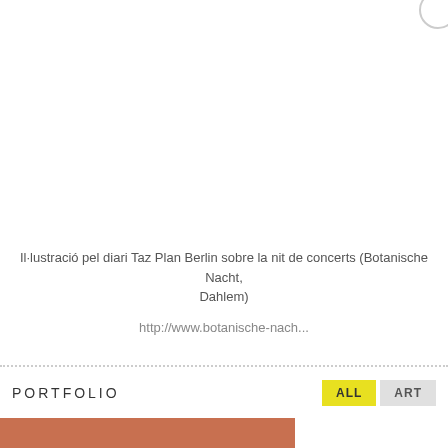Il·lustració pel diari Taz Plan Berlin sobre la nit de concerts (Botanische Nacht, Dahlem)
http://www.botanische-nach...
PORTFOLIO
[Figure (photo): Partial view of a reddish/orange illustration or photo at the bottom of the page]